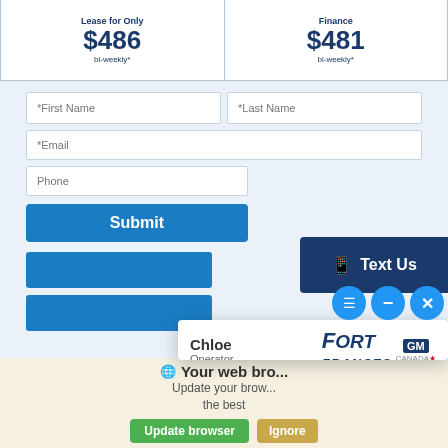| Lease for Only | Finance |
| --- | --- |
| $486
bi-weekly* | $481
bi-weekly* |
*First Name
*Last Name
*Email
Phone
Submit
Text Us
Chloe
Operator
Chloe: Hi! Welcome to Fort Frances GM.
How may I assist you?
Type here...
Powered By: LiveAdmins
Your web bro...
Update your brow... the best
Update browser
Ignore